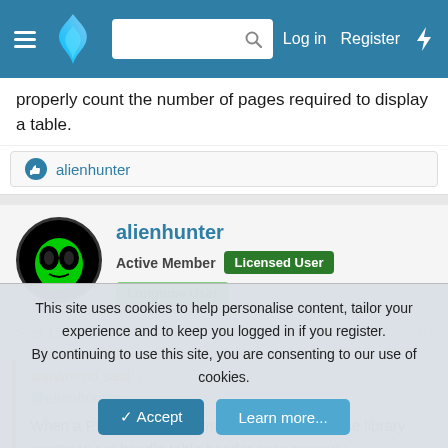Navigation bar with hamburger menu, flame logo, search box, Log in, Register, flash icon
properly count the number of pages required to display a table.
alienhunter
alienhunter
Active Member   Licensed User   Longtime User
Sep 15, 2014   #10
warwound said: ↑
@alienhunter

When a PDF table spans more than one page the library seems to not handle table header rows properly.
This site uses cookies to help personalise content, tailor your experience and to keep you logged in if you register.
By continuing to use this site, you are consenting to our use of cookies.